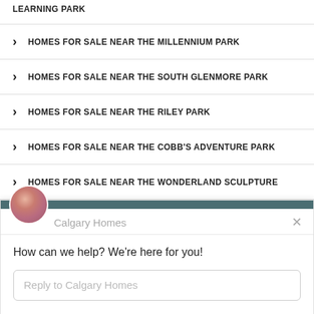LEARNING PARK
HOMES FOR SALE NEAR THE MILLENNIUM PARK
HOMES FOR SALE NEAR THE SOUTH GLENMORE PARK
HOMES FOR SALE NEAR THE RILEY PARK
HOMES FOR SALE NEAR THE COBB'S ADVENTURE PARK
HOMES FOR SALE NEAR THE WONDERLAND SCULPTURE
[Figure (screenshot): Drift chat widget showing 'Calgary Homes' with message 'How can we help? We're here for you!' and a reply input box. Footer reads 'Chat ⚡ by Drift']